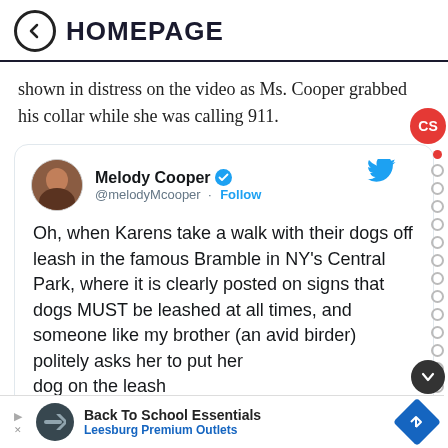← HOMEPAGE
shown in distress on the video as Ms. Cooper grabbed his collar while she was calling 911.
[Figure (screenshot): Embedded tweet from @melodyMcooper (Melody Cooper, verified) reading: 'Oh, when Karens take a walk with their dogs off leash in the famous Bramble in NY's Central Park, where it is clearly posted on signs that dogs MUST be leashed at all times, and someone like my brother (an avid birder) politely asks her to put her dog on the leash' (text cut off). Includes Twitter bird logo and CS badge overlay.]
Back To School Essentials
Leesburg Premium Outlets